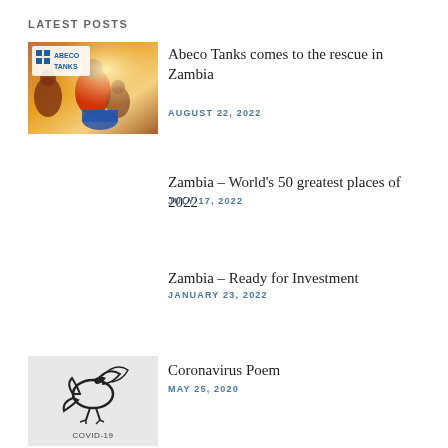LATEST POSTS
[Figure (photo): Thumbnail photo showing people with Abeco Tanks logo overlay]
Abeco Tanks comes to the rescue in Zambia
AUGUST 22, 2022
Zambia – World's 50 greatest places of 2022
JULY 17, 2022
Zambia – Ready for Investment
JANUARY 23, 2022
[Figure (photo): Thumbnail image showing a COVID-19 themed illustration with a stylized bird/virus figure and 'COVID-19' text below]
Coronavirus Poem
MAY 25, 2020